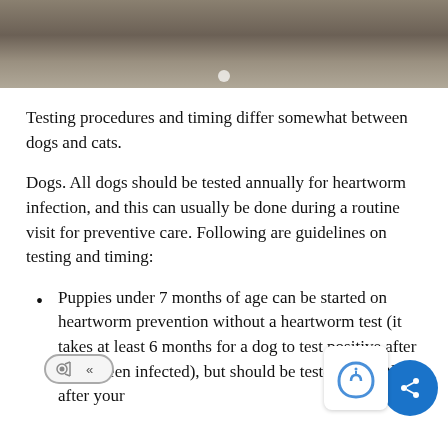[Figure (photo): A blurry photo showing a floor or ground surface with muted brown and grey tones, with a small light-colored spot near the bottom center.]
Testing procedures and timing differ somewhat between dogs and cats.
Dogs. All dogs should be tested annually for heartworm infection, and this can usually be done during a routine visit for preventive care. Following are guidelines on testing and timing:
Puppies under 7 months of age can be started on heartworm prevention without a heartworm test (it takes at least 6 months for a dog to test positive after it has been infected), but should be tested 6 months after your